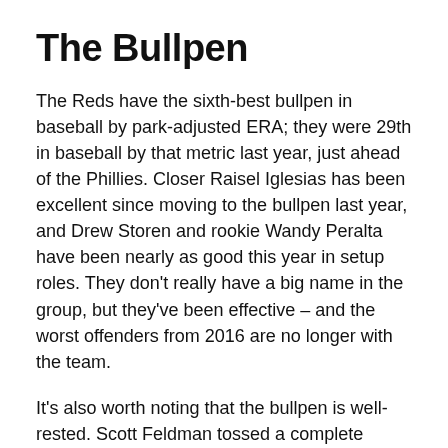The Bullpen
The Reds have the sixth-best bullpen in baseball by park-adjusted ERA; they were 29th in baseball by that metric last year, just ahead of the Phillies. Closer Raisel Iglesias has been excellent since moving to the bullpen last year, and Drew Storen and rookie Wandy Peralta have been nearly as good this year in setup roles. They don't really have a big name in the group, but they've been effective – and the worst offenders from 2016 are no longer with the team.
It's also worth noting that the bullpen is well-rested. Scott Feldman tossed a complete game last night, and only one reliever (Robert Stephenson) was used on Saturday. In fact, none